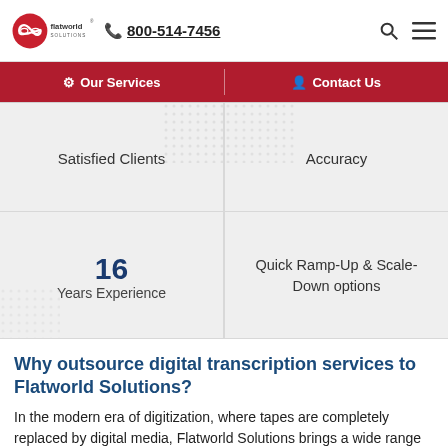flatworld solutions | 800-514-7456
Our Services | Contact Us
Satisfied Clients
Accuracy
16 Years Experience
Quick Ramp-Up & Scale-Down options
Why outsource digital transcription services to Flatworld Solutions?
In the modern era of digitization, where tapes are completely replaced by digital media, Flatworld Solutions brings a wide range of electronic transcription